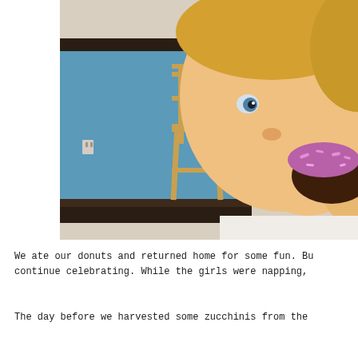[Figure (photo): A young toddler with blonde hair eating a chocolate donut with purple sprinkles. The background shows a restaurant or cafe interior with blue walls, dark wood trim, and a wooden high chair. The child is looking slightly to the side while holding the donut up to their mouth.]
We ate our donuts and returned home for some fun. Bu continue celebrating. While the girls were napping,
The day before we harvested some zucchinis from the